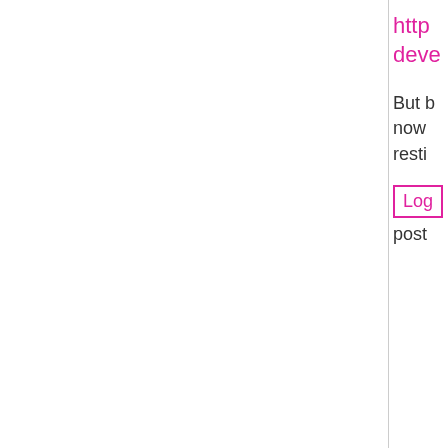http
deve
But n
now
restu
Log
post
[Figure (photo): Profile photo of a young man wearing sunglasses and a dark t-shirt, photographed from the side]
otacke
Thu, 10/15/2020 - 23:21
permalink
Compared to what?
Compared to what?
Log in or